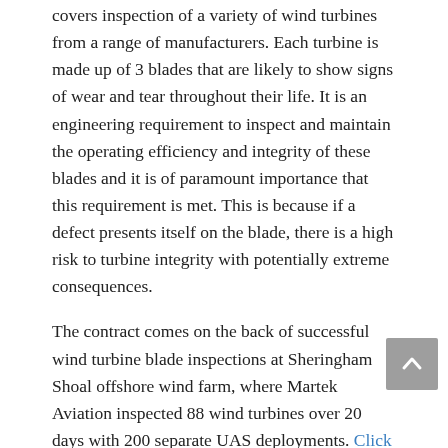covers inspection of a variety of wind turbines from a range of manufacturers. Each turbine is made up of 3 blades that are likely to show signs of wear and tear throughout their life. It is an engineering requirement to inspect and maintain the operating efficiency and integrity of these blades and it is of paramount importance that this requirement is met. This is because if a defect presents itself on the blade, there is a high risk to turbine integrity with potentially extreme consequences.
The contract comes on the back of successful wind turbine blade inspections at Sheringham Shoal offshore wind farm, where Martek Aviation inspected 88 wind turbines over 20 days with 200 separate UAS deployments. Click here to read the full case study.
Benefits of UAS Inspections:
There are many benefits to using UAS over traditional